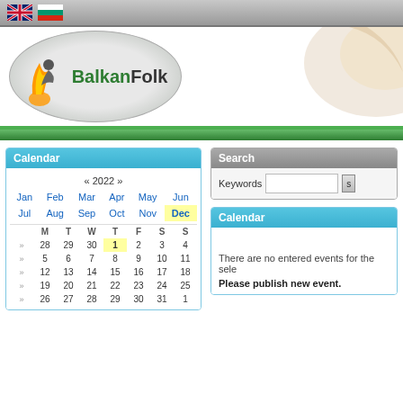Language flags: UK, Bulgaria
[Figure (logo): BalkanFolk logo with musical instrument icon and oval background]
Calendar
|  | M | T | W | T | F | S | S |
| --- | --- | --- | --- | --- | --- | --- | --- |
| » | 28 | 29 | 30 | 1 | 2 | 3 | 4 |
| » | 5 | 6 | 7 | 8 | 9 | 10 | 11 |
| » | 12 | 13 | 14 | 15 | 16 | 17 | 18 |
| » | 19 | 20 | 21 | 22 | 23 | 24 | 25 |
| » | 26 | 27 | 28 | 29 | 30 | 31 | 1 |
Search
Keywords
Calendar
There are no entered events for the selected period.
Please publish new event.